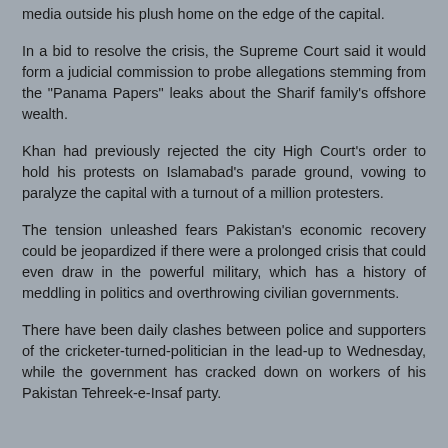media outside his plush home on the edge of the capital.
In a bid to resolve the crisis, the Supreme Court said it would form a judicial commission to probe allegations stemming from the "Panama Papers" leaks about the Sharif family's offshore wealth.
Khan had previously rejected the city High Court's order to hold his protests on Islamabad's parade ground, vowing to paralyze the capital with a turnout of a million protesters.
The tension unleashed fears Pakistan's economic recovery could be jeopardized if there were a prolonged crisis that could even draw in the powerful military, which has a history of meddling in politics and overthrowing civilian governments.
There have been daily clashes between police and supporters of the cricketer-turned-politician in the lead-up to Wednesday, while the government has cracked down on workers of his Pakistan Tehreek-e-Insaf party.